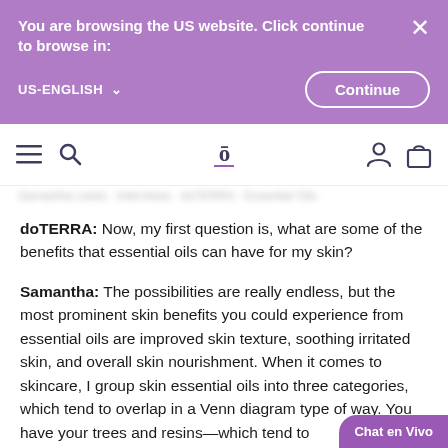You are browsing the US website. Click continue to browse in: US-ENGLISH  Continue
[Figure (screenshot): Website navigation bar with hamburger menu, search icon, doTERRA logo, user icon, and shopping bag icon]
doTERRA: Now, my first question is, what are some of the benefits that essential oils can have for my skin?
Samantha: The possibilities are really endless, but the most prominent skin benefits you could experience from essential oils are improved skin texture, soothing irritated skin, and overall skin nourishment. When it comes to skincare, I group skin essential oils into three categories, which tend to overlap in a Venn diagram type of way. You have your trees and resins—which tend to